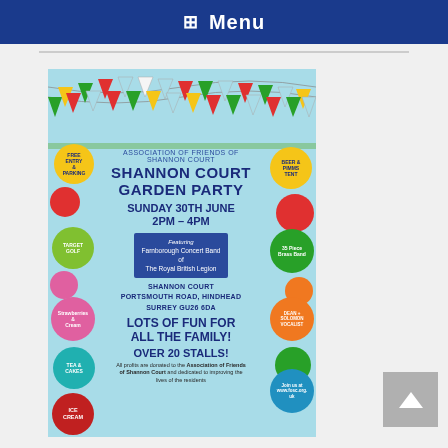Menu
[Figure (illustration): Shannon Court Garden Party flyer with colorful bunting across the top, colorful balloons on left and right sides, blue background. Text includes: ASSOCIATION OF FRIENDS OF SHANNON COURT, SHANNON COURT GARDEN PARTY, SUNDAY 30TH JUNE 2PM – 4PM, Featuring Farnborough Concert Band of The Royal British Legion, SHANNON COURT PORTSMOUTH ROAD, HINDHEAD SURREY GU26 6DA, LOTS OF FUN FOR ALL THE FAMILY!, OVER 20 STALLS!, All profits are donated to the Association of Friends of Shannon Court and dedicated to improving the lives of the residents. Balloons label: FREE ENTRY & PARKING, BEER & PIMMS TENT, TARGET GOLF, 35 Piece Brass Band, Strawberries & Cream, DEAN + SOLOMON VOCALIST, TEA & CAKES, Join us at www.fosc.org.uk, ICE CREAM]